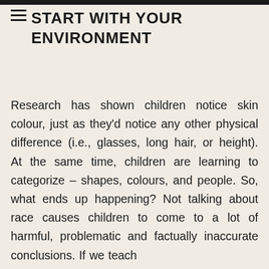START WITH YOUR ENVIRONMENT
Research has shown children notice skin colour, just as they'd notice any other physical difference (i.e., glasses, long hair, or height). At the same time, children are learning to categorize – shapes, colours, and people. So, what ends up happening? Not talking about race causes children to come to a lot of harmful, problematic and factually inaccurate conclusions. If we teach